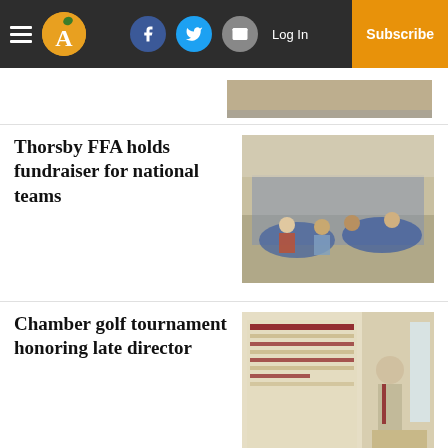Navigation bar with hamburger menu, logo, social icons (Facebook, Twitter, Email), Log In, Subscribe
[Figure (photo): Partial top image strip, cropped photo visible at right side of page]
Thorsby FFA holds fundraiser for national teams
[Figure (photo): People seated at round tables in a banquet hall, blue tablecloths, FFA fundraiser event]
Chamber golf tournament honoring late director
[Figure (photo): Man in suit standing in front of large scoreboard/bracket display on a wall]